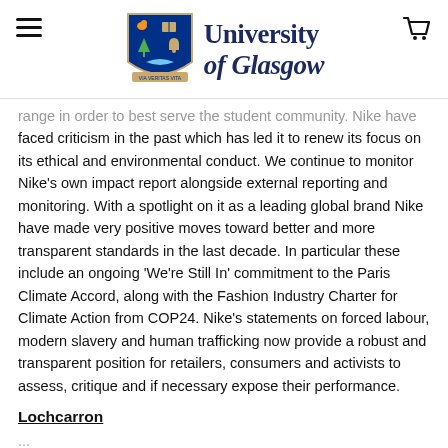[Figure (logo): University of Glasgow logo with shield/crest and text 'University of Glasgow' in dark blue serif font]
range in order to best serve the student community. Nike have faced criticism in the past which has led it to renew its focus on its ethical and environmental conduct. We continue to monitor Nike's own impact report alongside external reporting and monitoring. With a spotlight on it as a leading global brand Nike have made very positive moves toward better and more transparent standards in the last decade. In particular these include an ongoing 'We're Still In' commitment to the Paris Climate Accord, along with the Fashion Industry Charter for Climate Action from COP24. Nike's statements on forced labour, modern slavery and human trafficking now provide a robust and transparent position for retailers, consumers and activists to assess, critique and if necessary expose their performance.
Lochcarron
...